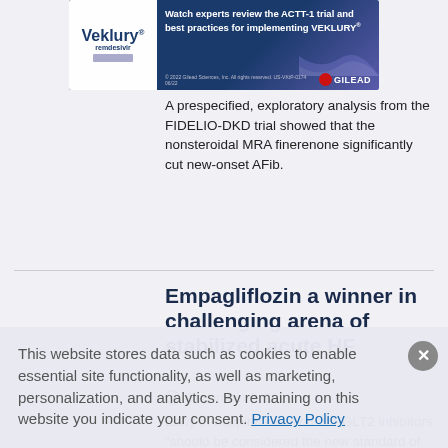[Figure (other): Veklury (remdesivir) advertisement banner by Gilead Sciences. Text: Watch experts review the ACTT-1 trial and best practices for implementing VEKLURY. Copyright 2022 Gilead Sciences, Inc. All rights reserved. US-VKtP-0174 06/22]
A prespecified, exploratory analysis from the FIDELIO-DKD trial showed that the nonsteroidal MRA finerenone significantly cut new-onset AFib.
Empagliflozin a winner in challenging arena of stabilized acute HF
December 2, 2021
Early in-hospital initiation of SGLT2 inhibitors “should be considered the new standard of care” in most patients with heart failure regardless of their ejection fraction, says an
This website stores data such as cookies to enable essential site functionality, as well as marketing, personalization, and analytics. By remaining on this website you indicate your consent. Privacy Policy